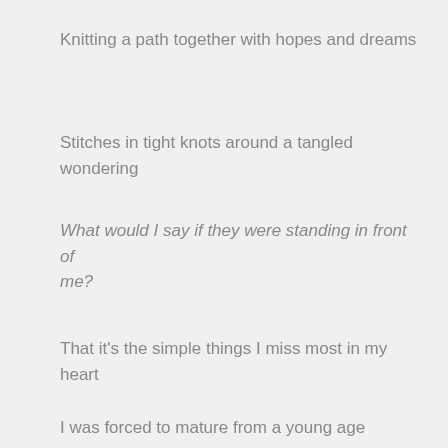Knitting a path together with hopes and dreams
Stitches in tight knots around a tangled wondering
What would I say if they were standing in front of me?
That it's the simple things I miss most in my heart
I was forced to mature from a young age